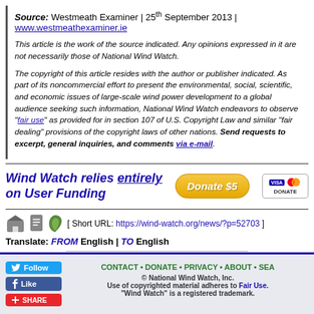Source: Westmeath Examiner | 25th September 2013 | www.westmeathexaminer.ie
This article is the work of the source indicated. Any opinions expressed in it are not necessarily those of National Wind Watch.
The copyright of this article resides with the author or publisher indicated. As part of its noncommercial effort to present the environmental, social, scientific, and economic issues of large-scale wind power development to a global audience seeking such information, National Wind Watch endeavors to observe "fair use" as provided for in section 107 of U.S. Copyright Law and similar "fair dealing" provisions of the copyright laws of other nations. Send requests to excerpt, general inquiries, and comments via e-mail.
[Figure (infographic): Wind Watch relies entirely on User Funding donation bar with Donate $5 button and VISA/Mastercard donate icons]
[ Short URL: https://wind-watch.org/news/?p=52703 ]
Translate: FROM English | TO English
« Later Post • News Watch Home • Earlier Post »
CONTACT • DONATE • PRIVACY • ABOUT • SEA | © National Wind Watch, Inc. Use of copyrighted material adheres to Fair Use. "Wind Watch" is a registered trademark.